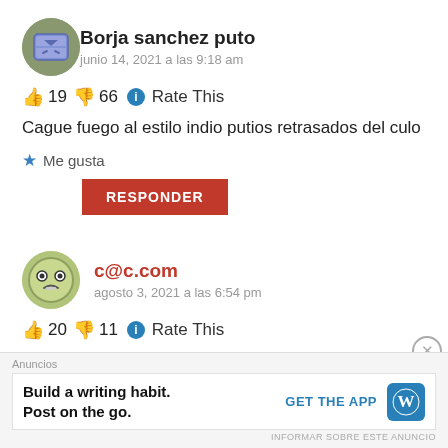Borja sanchez puto
junio 14, 2021 a las 9:18 am
👍 19 👎 66 ℹ Rate This
Cague fuego al estilo indio putios retrasados del culo
★ Me gusta
RESPONDER
c@c.com
agosto 3, 2021 a las 6:54 pm
👍 20 👎 11 ℹ Rate This
Anuncios | Build a writing habit. Post on the go. GET THE APP